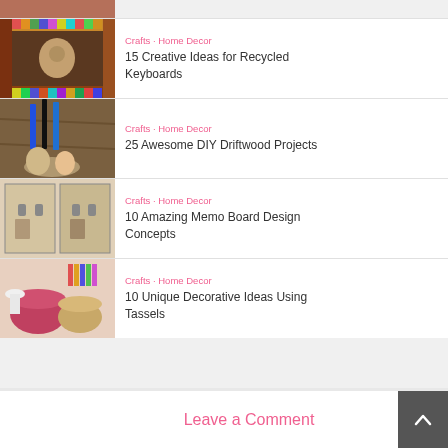[Figure (photo): Partial top image, cropped at top of page]
[Figure (photo): Colorful pixel/block frame around dog photo - recycled keyboard keys]
Crafts · Home Decor
15 Creative Ideas for Recycled Keyboards
[Figure (photo): Driftwood pen/pencil holder with figurines]
Crafts · Home Decor
25 Awesome DIY Driftwood Projects
[Figure (photo): Memo board design with fabric and hooks]
Crafts · Home Decor
10 Amazing Memo Board Design Concepts
[Figure (photo): Decorative baskets and items with tassels]
Crafts · Home Decor
10 Unique Decorative Ideas Using Tassels
Leave a Comment